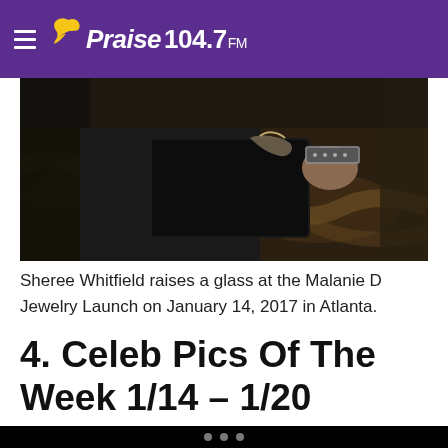Praise 104.7 FM
[Figure (photo): Close-up photo of a person holding a dark black clutch bag with decorative metallic detail, wearing a studded/chain bracelet. Background shows a patterned carpet/floor in warm tones.]
Sheree Whitfield raises a glass at the Malanie D Jewelry Launch on January 14, 2017 in Atlanta.
4. Celeb Pics Of The Week 1/14 – 1/20
[Figure (photo): Bottom thumbnail strip showing partial images of celebrities]